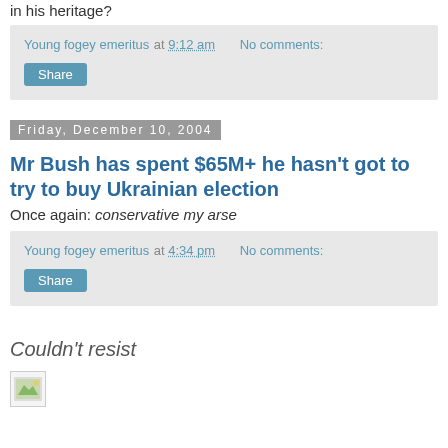in his heritage?
Young fogey emeritus at 9:12 am   No comments:
Share
Friday, December 10, 2004
Mr Bush has spent $65M+ he hasn't got to try to buy Ukrainian election
Once again: conservative my arse
Young fogey emeritus at 4:34 pm   No comments:
Share
Couldn't resist
[Figure (photo): Small image thumbnail at bottom of page]